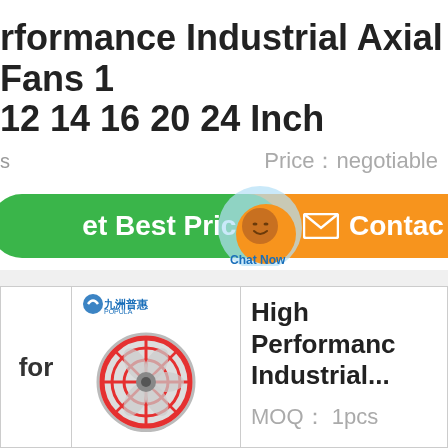rformance Industrial Axial Fans 12 14 16 20 24 Inch
Price：negotiable
et Best Price
Chat Now
Contac
[Figure (screenshot): Product listing thumbnail with POPULA brand logo and industrial axial fan image]
for
High Performance Industrial...
MOQ： 1pcs